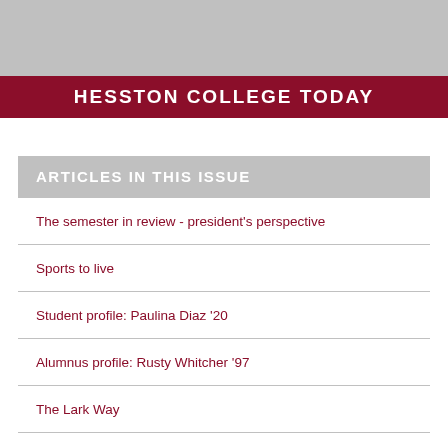[Figure (photo): Gray placeholder photo area at top of newsletter page]
HESSTON COLLEGE TODAY
ARTICLES IN THIS ISSUE
The semester in review - president's perspective
Sports to live
Student profile: Paulina Diaz '20
Alumnus profile: Rusty Whitcher '97
The Lark Way
Athletics news updates
Continuing the legacy